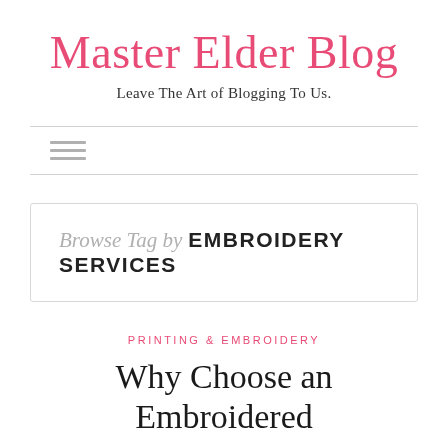Master Elder Blog
Leave The Art of Blogging To Us.
[Figure (other): Hamburger menu icon (three horizontal lines)]
Browse Tag by  EMBROIDERY SERVICES
PRINTING & EMBROIDERY
Why Choose an Embroidered